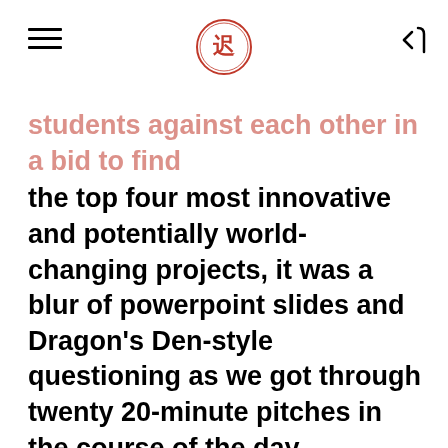[hamburger menu] [logo] [back arrow]
students against each other in a bid to find the top four most innovative and potentially world-changing projects, it was a blur of powerpoint slides and Dragon's Den-style questioning as we got through twenty 20-minute pitches in the course of the day.